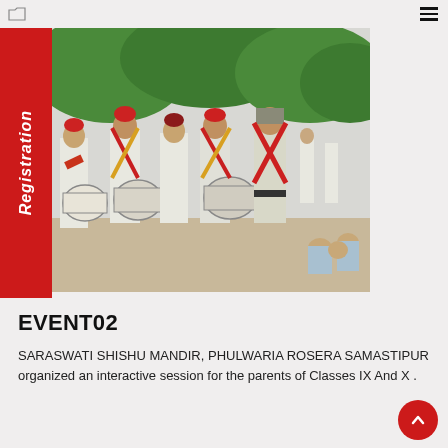Registration
[Figure (photo): School children in white uniforms with red berets and sashes playing drums in a marching band, with a uniformed official in the background, outdoors with trees]
EVENT02
SARASWATI SHISHU MANDIR, PHULWARIA ROSERA SAMASTIPUR organized an interactive session for the parents of Classes IX And X .